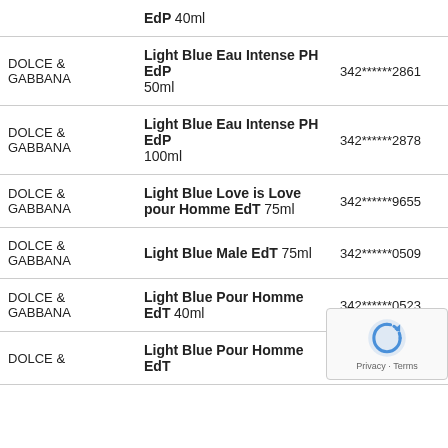| Brand | Product | Code |
| --- | --- | --- |
|  | EdP 40ml |  |
| DOLCE & GABBANA | Light Blue Eau Intense PH EdP 50ml | 342******2861 |
| DOLCE & GABBANA | Light Blue Eau Intense PH EdP 100ml | 342******2878 |
| DOLCE & GABBANA | Light Blue Love is Love pour Homme EdT 75ml | 342******9655 |
| DOLCE & GABBANA | Light Blue Male EdT 75ml | 342******0509 |
| DOLCE & GABBANA | Light Blue Pour Homme EdT 40ml | 342******0523 |
| DOLCE & | Light Blue Pour Homme EdT | 342******315? |